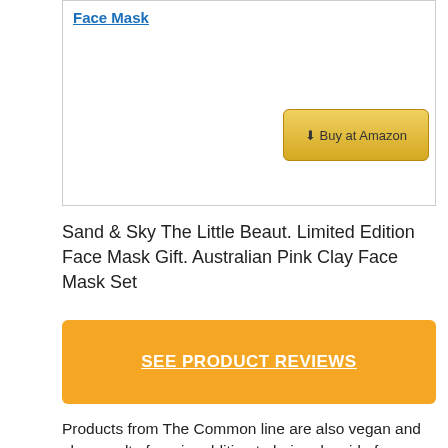Face Mask
⬇ Buy at Amazon
Sand & Sky The Little Beaut. Limited Edition Face Mask Gift. Australian Pink Clay Face Mask Set
SEE PRODUCT REVIEWS
Products from The Common line are also vegan and also cruelty-free, in addition to being devoid of parabens, sulphates and mineral oil. The Ordinary